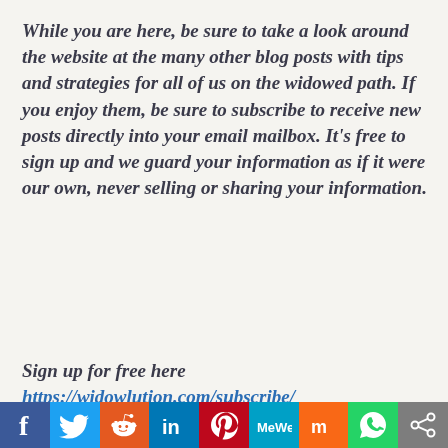While you are here, be sure to take a look around the website at the many other blog posts with tips and strategies for all of us on the widowed path. If you enjoy them, be sure to subscribe to receive new posts directly into your email mailbox. It's free to sign up and we guard your information as if it were our own, never selling or sharing your information.
Sign up for free here https://widowlution.com/subscribe/
[Figure (infographic): Social sharing bar with icons for Facebook, Twitter, Reddit, LinkedIn, Pinterest, MeWe, Mix, WhatsApp, and a share icon]